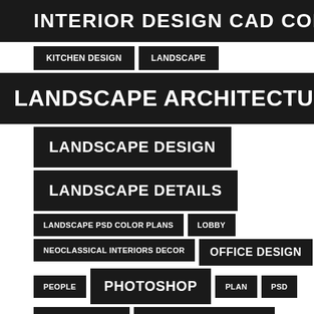INTERIOR DESIGN CAD COLLECTI
KITCHEN DESIGN
LANDSCAPE
LANDSCAPE ARCHITECTURE
LANDSCAPE DESIGN
LANDSCAPE DETAILS
LANDSCAPE PSD COLOR PLANS
LOBBY
NEOCLASSICAL INTERIORS DECOR
OFFICE DESIGN
PEOPLE
PHOTOSHOP
PLAN
PSD
PUBLIC FACILITIES
RESIDENTIAL CONSTRUCTION
ROOM DESIGN
SKETCHUP
SOFA DESIGN